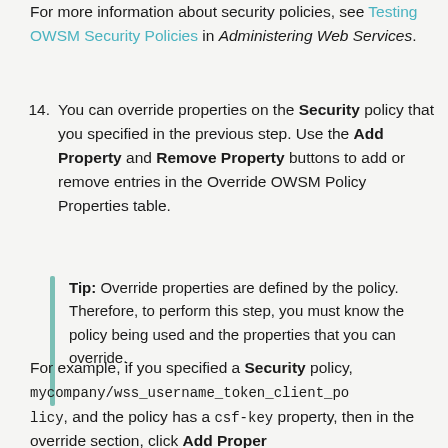For more information about security policies, see Testing OWSM Security Policies in Administering Web Services.
14. You can override properties on the Security policy that you specified in the previous step. Use the Add Property and Remove Property buttons to add or remove entries in the Override OWSM Policy Properties table.
Tip: Override properties are defined by the policy. Therefore, to perform this step, you must know the policy being used and the properties that you can override.
For example, if you specified a Security policy, mycompany/wss_username_token_client_policy, and the policy has a csf-key property, then in the override section, click Add Property to add a value for csf-key. Note that this key must